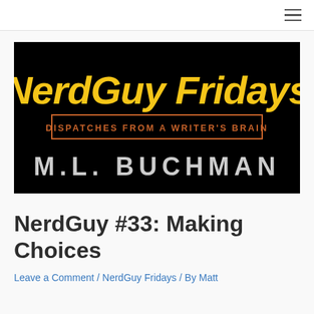≡
[Figure (logo): NerdGuy Fridays banner image on black background. Large yellow italic bold text 'NerdGuy Fridays', below it a rust/orange bordered box with text 'DISPATCHES FROM A WRITER'S BRAIN', and below that large grey text 'M.L. BUCHMAN']
NerdGuy #33: Making Choices
Leave a Comment / NerdGuy Fridays / By Matt